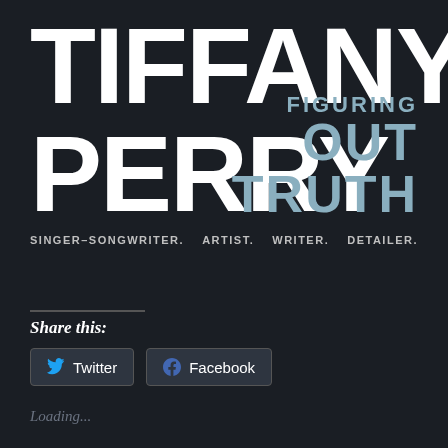TIFFANY PERRY
FIGURING OUT TRUTH
SINGER-SONGWRITER. ARTIST. WRITER. DETAILER.
Share this:
Twitter
Facebook
Loading...